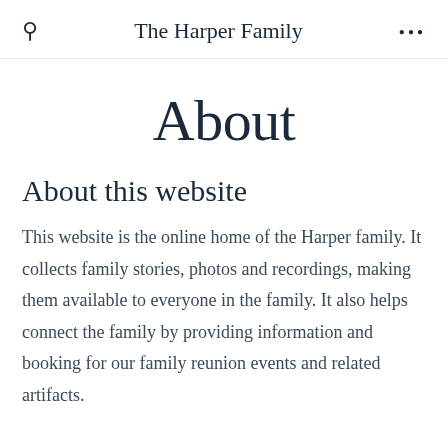The Harper Family
About
About this website
This website is the online home of the Harper family. It collects family stories, photos and recordings, making them available to everyone in the family. It also helps connect the family by providing information and booking for our family reunion events and related artifacts.